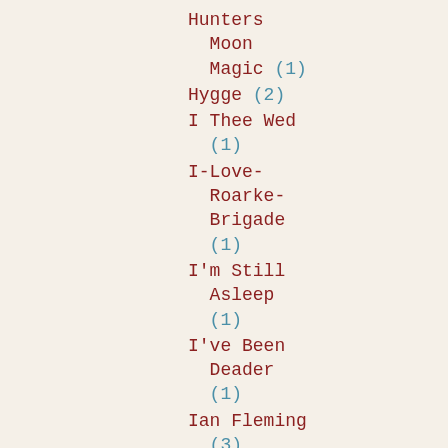Hunters Moon Magic (1)
Hygge (2)
I Thee Wed (1)
I-Love-Roarke-Brigade (1)
I'm Still Asleep (1)
I've Been Deader (1)
Ian Fleming (3)